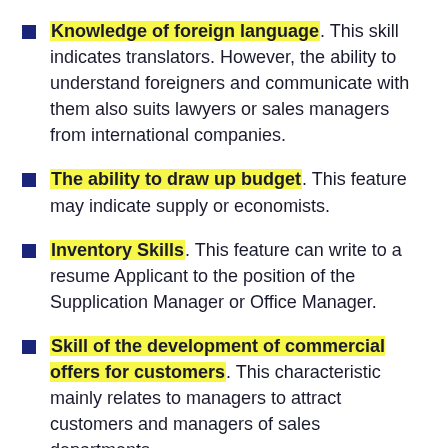Knowledge of foreign language. This skill indicates translators. However, the ability to understand foreigners and communicate with them also suits lawyers or sales managers from international companies.
The ability to draw up budget. This feature may indicate supply or economists.
Inventory Skills. This feature can write to a resume Applicant to the position of the Supplication Manager or Office Manager.
Skill of the development of commercial offers for customers. This characteristic mainly relates to managers to attract customers and managers of sales departments.